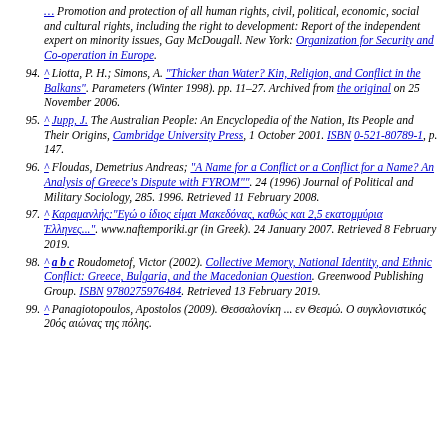...Promotion and protection of all human rights, civil, political, economic, social and cultural rights, including the right to development: Report of the independent expert on minority issues, Gay McDougall. New York: Organization for Security and Co-operation in Europe.
94. ^ Liotta, P. H.; Simons, A. "Thicker than Water? Kin, Religion, and Conflict in the Balkans". Parameters (Winter 1998). pp. 11–27. Archived from the original on 25 November 2006.
95. ^ Jupp, J. The Australian People: An Encyclopedia of the Nation, Its People and Their Origins, Cambridge University Press, 1 October 2001. ISBN 0-521-80789-1, p. 147.
96. ^ Floudas, Demetrius Andreas; "A Name for a Conflict or a Conflict for a Name? An Analysis of Greece's Dispute with FYROM"". 24 (1996) Journal of Political and Military Sociology, 285. 1996. Retrieved 11 February 2008.
97. ^ Καραμανλής:"Εγώ ο ίδιος είμαι Μακεδόνας, καθώς και 2,5 εκατομμύρια Έλληνες...". www.naftemporiki.gr (in Greek). 24 January 2007. Retrieved 8 February 2019.
98. ^ a b c Roudometof, Victor (2002). Collective Memory, National Identity, and Ethnic Conflict: Greece, Bulgaria, and the Macedonian Question. Greenwood Publishing Group. ISBN 9780275976484. Retrieved 13 February 2019.
99. ^ Panagiotopoulos, Apostolos (2009). Θεσσαλονίκη ... εν Θεσμώ. Ο συγκλονιστικός 20ός αιώνας της πόλης.